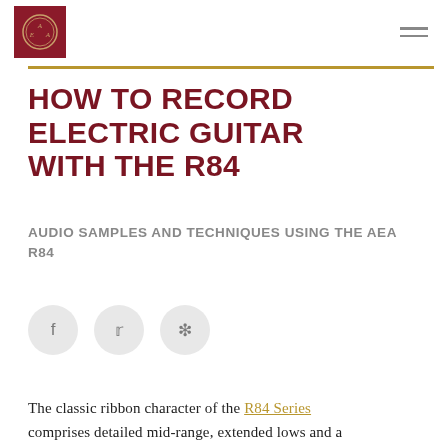AEA [logo] navigation menu
HOW TO RECORD ELECTRIC GUITAR WITH THE R84
AUDIO SAMPLES AND TECHNIQUES USING THE AEA R84
[Figure (other): Social share icons: Facebook, Twitter, Pinterest circles]
The classic ribbon character of the R84 Series comprises detailed mid-range, extended lows and a